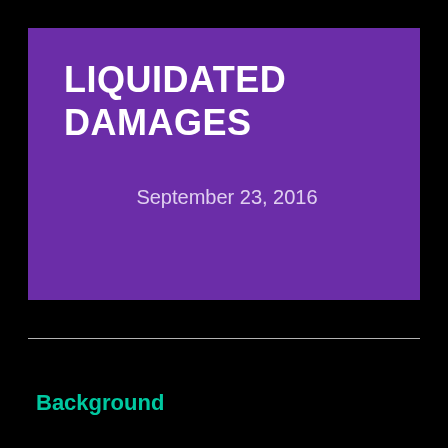LIQUIDATED DAMAGES
September 23, 2016
Background